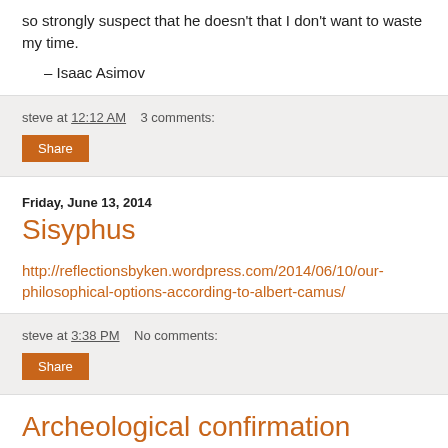so strongly suspect that he doesn't that I don't want to waste my time.
– Isaac Asimov
steve at 12:12 AM   3 comments:
Share
Friday, June 13, 2014
Sisyphus
http://reflectionsbyken.wordpress.com/2014/06/10/our-philosophical-options-according-to-albert-camus/
steve at 3:38 PM   No comments:
Share
Archeological confirmation